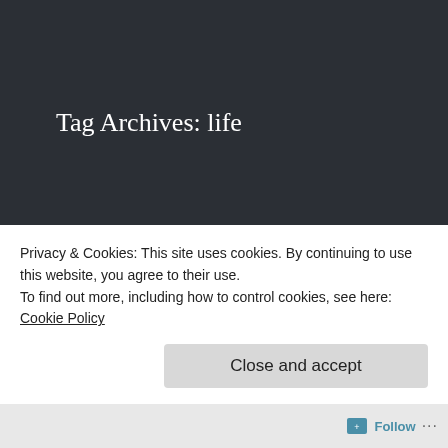Tag Archives: life
The Art of Work
Imagine a world without art and artists
Privacy & Cookies: This site uses cookies. By continuing to use this website, you agree to their use.
To find out more, including how to control cookies, see here: Cookie Policy
Close and accept
Follow